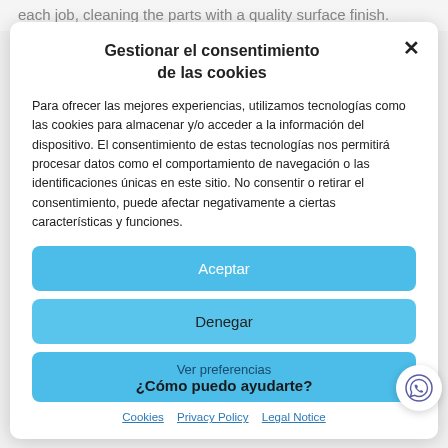each job, cleaning the parts with a quality surface finish.
Gestionar el consentimiento de las cookies
Para ofrecer las mejores experiencias, utilizamos tecnologías como las cookies para almacenar y/o acceder a la información del dispositivo. El consentimiento de estas tecnologías nos permitirá procesar datos como el comportamiento de navegación o las identificaciones únicas en este sitio. No consentir o retirar el consentimiento, puede afectar negativamente a ciertas características y funciones.
Aceptar
Denegar
Ver preferencias
¿Cómo puedo ayudarte?
Cookies  Privacy Policy  Legal Notice